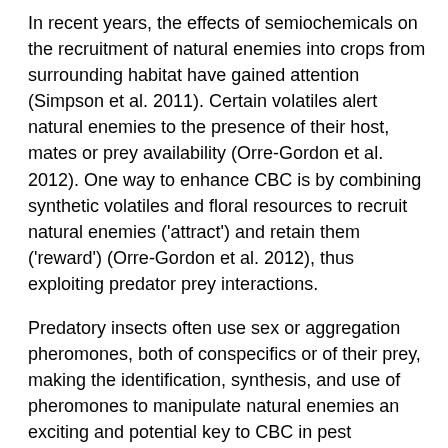In recent years, the effects of semiochemicals on the recruitment of natural enemies into crops from surrounding habitat have gained attention (Simpson et al. 2011). Certain volatiles alert natural enemies to the presence of their host, mates or prey availability (Orre-Gordon et al. 2012). One way to enhance CBC is by combining synthetic volatiles and floral resources to recruit natural enemies ('attract') and retain them ('reward') (Orre-Gordon et al. 2012), thus exploiting predator prey interactions.
Predatory insects often use sex or aggregation pheromones, both of conspecifics or of their prey, making the identification, synthesis, and use of pheromones to manipulate natural enemies an exciting and potential key to CBC in pest management (Wermelinger 2004). During foraging, minute pirate bugs often exploit cues associated with prey (Aldrich 2007). For example, one species of minute pirate bug, O. tristicolor (White), was